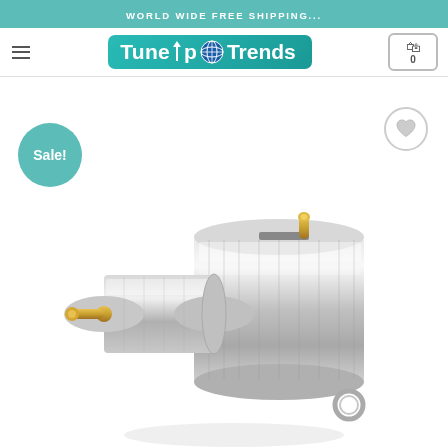WORLD WIDE FREE SHIPPING...
[Figure (logo): TuneUp Trends logo with globe icon on teal background]
[Figure (photo): Sale! badge (teal circle) on product page. Metal cylindrical solenoid/actuator device with gold-colored pins and a metal ring, photographed on white background.]
Sale!